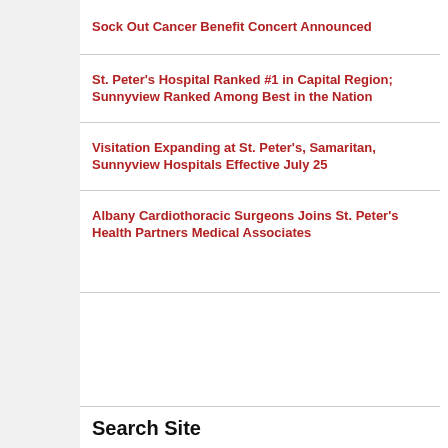Sock Out Cancer Benefit Concert Announced
St. Peter's Hospital Ranked #1 in Capital Region; Sunnyview Ranked Among Best in the Nation
Visitation Expanding at St. Peter's, Samaritan, Sunnyview Hospitals Effective July 25
Albany Cardiothoracic Surgeons Joins St. Peter's Health Partners Medical Associates
Search Site